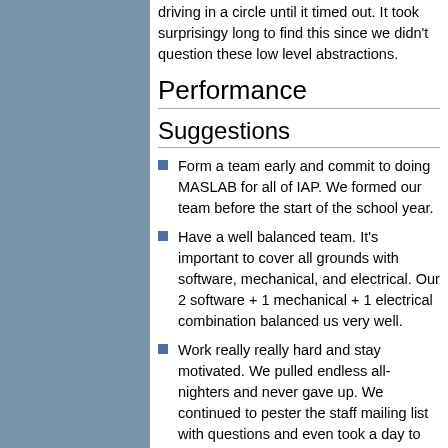driving in a circle until it timed out. It took surprisingy long to find this since we didn't question these low level abstractions.
Performance
Suggestions
Form a team early and commit to doing MASLAB for all of IAP. We formed our team before the start of the school year.
Have a well balanced team. It's important to cover all grounds with software, mechanical, and electrical. Our 2 software + 1 mechanical + 1 electrical combination balanced us very well.
Work really really hard and stay motivated. We pulled endless all-nighters and never gave up. We continued to pester the staff mailing list with questions and even took a day to set up some legit practice fields in 26-100 and test before the seeding tournament.